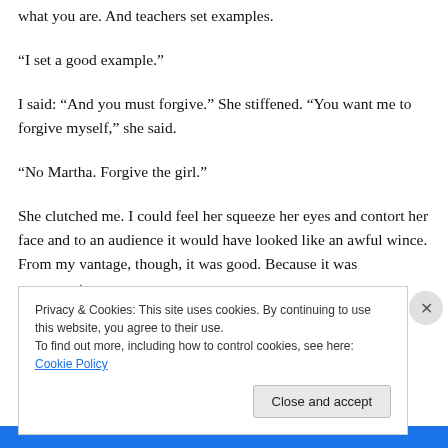what you are. And teachers set examples.
“I set a good example.”
I said: “And you must forgive.” She stiffened. “You want me to forgive myself,” she said.
“No Martha. Forgive the girl.”
She clutched me. I could feel her squeeze her eyes and contort her face and to an audience it would have looked like an awful wince. From my vantage, though, it was good. Because it was movement.
Privacy & Cookies: This site uses cookies. By continuing to use this website, you agree to their use.
To find out more, including how to control cookies, see here: Cookie Policy
Close and accept